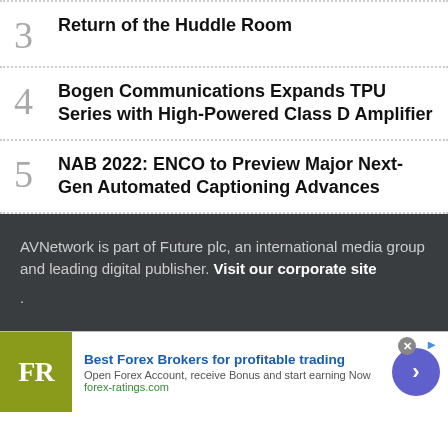3  Return of the Huddle Room
4  Bogen Communications Expands TPU Series with High-Powered Class D Amplifier
5  NAB 2022: ENCO to Preview Major Next-Gen Automated Captioning Advances
AVNetwork is part of Future plc, an international media group and leading digital publisher. Visit our corporate site .
[Figure (other): Advertisement banner for forex-ratings.com: FR logo (olive/yellow background), headline 'Best Forex Brokers for profitable trading', subtext 'Open Forex Account, receive Bonus and start earning Now', url 'forex-ratings.com', with a purple circular arrow button.]